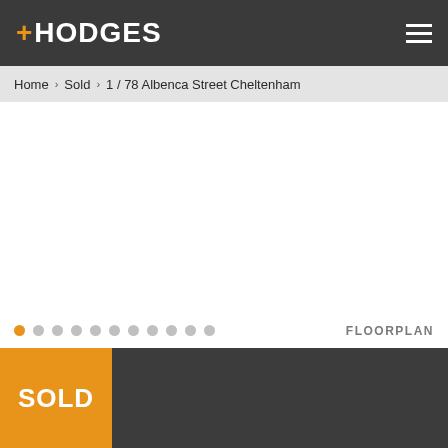+HODGES
Home > Sold > 1 / 78 Albenca Street Cheltenham
[Figure (photo): Property photo area with image carousel, showing a white empty area. Slideshow dots indicator at bottom with 11 dots (first dot active/orange). 'FLOORPLAN' label at bottom right.]
SOLD
1 / 78 Albenca Street Cheltenham